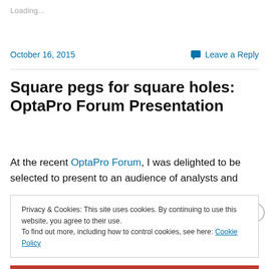Loading...
October 16, 2015
Leave a Reply
Square pegs for square holes: OptaPro Forum Presentation
At the recent OptaPro Forum, I was delighted to be selected to present to an audience of analysts and
Privacy & Cookies: This site uses cookies. By continuing to use this website, you agree to their use.
To find out more, including how to control cookies, see here: Cookie Policy
Close and accept